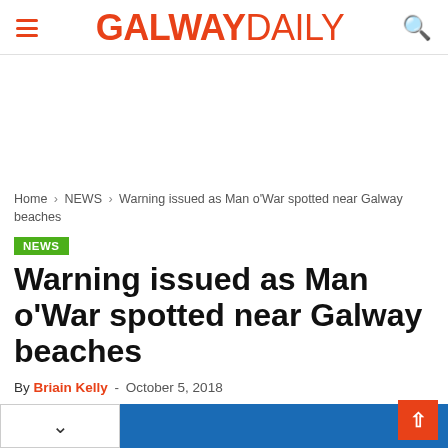GALWAY DAILY
Home › NEWS › Warning issued as Man o'War spotted near Galway beaches
NEWS
Warning issued as Man o'War spotted near Galway beaches
By Briain Kelly - October 5, 2018